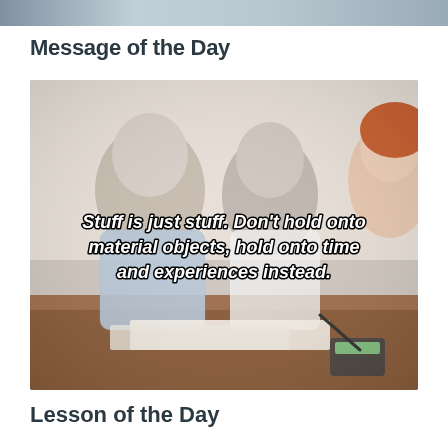[Figure (photo): Partial top image cropped at the top of the page, showing a blurred or background scene]
Message of the Day
[Figure (photo): Photo of two elderly people (an older man with glasses and an older woman) sitting at a table with a younger woman, appearing to discuss documents. White bold italic text overlay reads: Stuff is just stuff. Don't hold onto material objects, hold onto time and experiences instead.]
Lesson of the Day